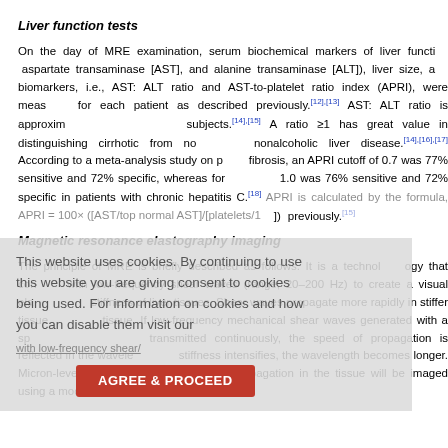Liver function tests
On the day of MRE examination, serum biochemical markers of liver function (aspartate transaminase [AST], and alanine transaminase [ALT]), liver size, and biomarkers, i.e., AST: ALT ratio and AST-to-platelet ratio index (APRI), were measured for each patient as described previously.[12],[13] AST: ALT ratio is approximately 0.8 in normal subjects.[14],[15] A ratio ≥1 has great value in distinguishing cirrhotic from noncirrhotic nonalcoholic liver disease.[14],[16],[17] According to a meta-analysis study on portal fibrosis, an APRI cutoff of 0.7 was 77% sensitive and 72% specific, whereas for cirrhosis, 1.0 was 76% sensitive and 72% specific in patients with chronic hepatitis C.[18] APRI is calculated by the formula, APRI = 100× ([AST/top normal AST]/[platelets/1 previously.[15]
Magnetic resonance elastography imaging
The principle of MRE is briefly described as follows. It is a technology that combines with low-frequency shear waves (range, 20–200 Hz) to create a visual elastogram of stiffness of liver tissues. Shear waves propagate more rapidly in stiffer tissue than soft tissue. If low-frequency mechanical shear waves generated with a special acoustic driver transmitted continuously, the speed of propagation is reflected in the wavelength. As stiffness intensifies, the wavelength becomes longer. Micron-level displacements of the wave propagation in the tissue will be imaged using a modified phase-contrast MRI sequence.